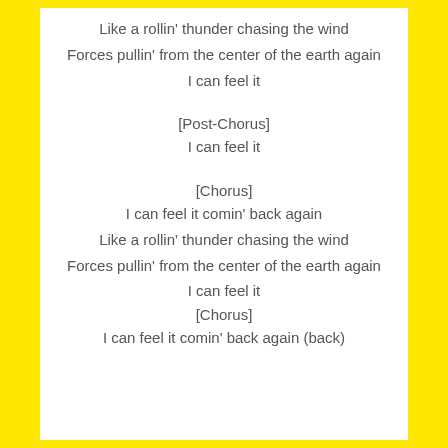Like a rollin' thunder chasing the wind
Forces pullin' from the center of the earth again
I can feel it
[Post-Chorus]
I can feel it
[Chorus]
I can feel it comin' back again
Like a rollin' thunder chasing the wind
Forces pullin' from the center of the earth again
I can feel it
[Chorus]
I can feel it comin' back again (back)